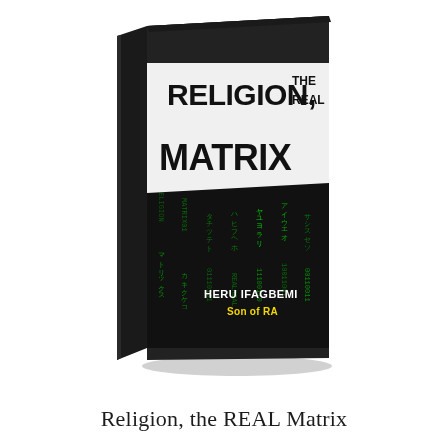[Figure (illustration): 3D rendered book cover for 'Religion, the REAL Matrix' by HERU IFAGBEMI Son of RA. The book cover has a dark/black background with green Matrix-style falling code characters. The upper portion has a light/white band with the title 'RELIGION, THE REAL MATRIX' in large bold dark letters. Author name 'HERU IFAGBEMI Son of RA' appears at the bottom of the cover in white/yellow text. The book is shown in perspective 3D view with a slight shadow.]
Religion, the REAL Matrix